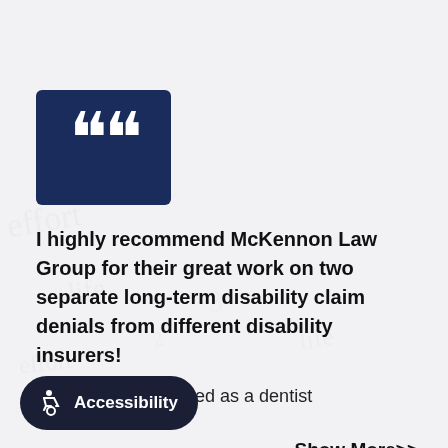[Figure (illustration): Dark blue square box with large white open quotation marks (66) displayed prominently]
I highly recommend McKennon Law Group for their great work on two separate long-term disability claim denials from different disability insurers!
For 25 years, I worked as a dentist
Show More>>
Accessibility